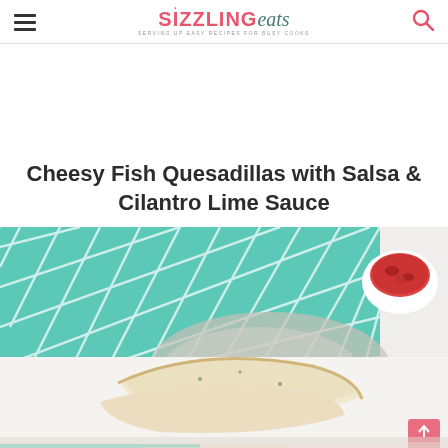SIZZLING eats — serving up easy recipes for busy cooks
Cheesy Fish Quesadillas with Salsa & Cilantro Lime Sauce
[Figure (photo): Food photo showing cheesy fish quesadillas on a white surface with a teal/turquoise patterned cloth napkin in background and a small white bowl of salsa. Bottom of image shows a second photo with the quesadilla filling.]